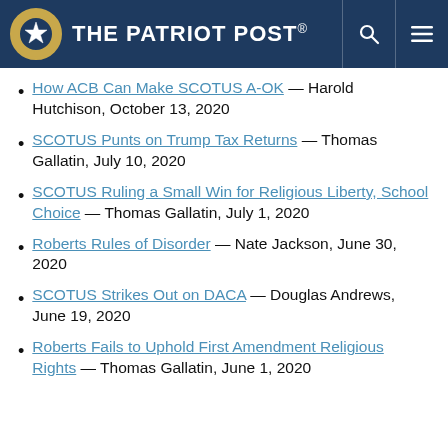The Patriot Post
How ACB Can Make SCOTUS A-OK — Harold Hutchison, October 13, 2020
SCOTUS Punts on Trump Tax Returns — Thomas Gallatin, July 10, 2020
SCOTUS Ruling a Small Win for Religious Liberty, School Choice — Thomas Gallatin, July 1, 2020
Roberts Rules of Disorder — Nate Jackson, June 30, 2020
SCOTUS Strikes Out on DACA — Douglas Andrews, June 19, 2020
Roberts Fails to Uphold First Amendment Religious Rights — Thomas Gallatin, June 1, 2020